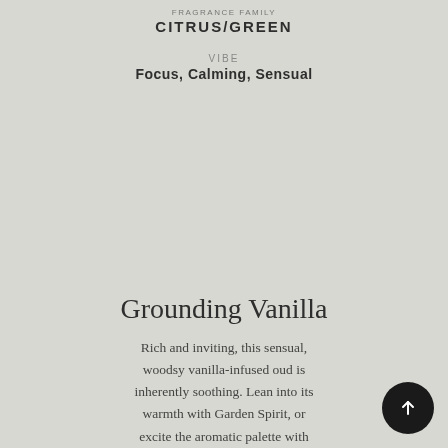FRAGRANCE FAMILY
CITRUS/GREEN
VIBE
Focus, Calming, Sensual
Grounding Vanilla
Rich and inviting, this sensual, woodsy vanilla-infused oud is inherently soothing. Lean into its warmth with Garden Spirit, or excite the aromatic palette with